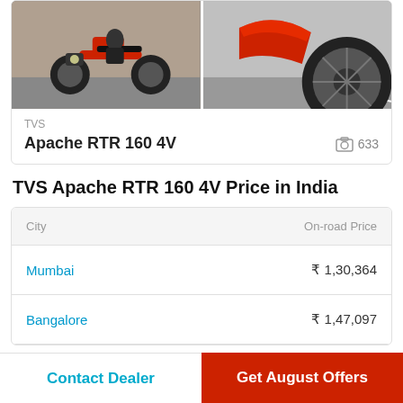[Figure (photo): Two photos of TVS Apache RTR 160 4V motorcycle side by side]
TVS
Apache RTR 160 4V
633
TVS Apache RTR 160 4V Price in India
| City | On-road Price |
| --- | --- |
| Mumbai | ₹ 1,30,364 |
| Bangalore | ₹ 1,47,097 |
Contact Dealer
Get August Offers